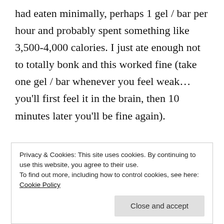had eaten minimally, perhaps 1 gel / bar per hour and probably spent something like 3,500-4,000 calories. I just ate enough not to totally bonk and this worked fine (take one gel / bar whenever you feel weak… you'll first feel it in the brain, then 10 minutes later you'll be fine again).
[Figure (other): WordPress advertisement banner with dashed line and text 'Where WordPress Works Best' with a blue button partially visible]
Privacy & Cookies: This site uses cookies. By continuing to use this website, you agree to their use.
To find out more, including how to control cookies, see here: Cookie Policy
Close and accept